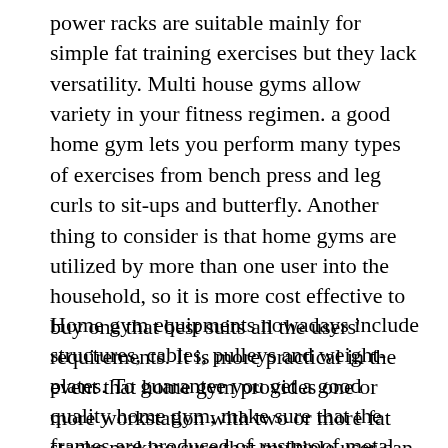power racks are suitable mainly for simple fat training exercises but they lack versatility. Multi house gyms allow variety in your fitness regimen. a good home gym lets you perform many types of exercises from bench press and leg curls to sit-ups and butterfly. Another thing to consider is that home gyms are utilized by more than one user into the household, so it is more cost effective to buy one that best suits all the users' requirements. It is more practical in the event that home gym provides one or more workstation with two or more fat stacks making sure that multiple user can exercise at the same time.
Home gym equipments nowadays include structures, cables, pulleys and weight-plates. To guarantee you get a good quality home gym, make sure that the frames are produced of rustproof metal, and test the cables for durability and strength. It should have a good combination of weight-plates to match